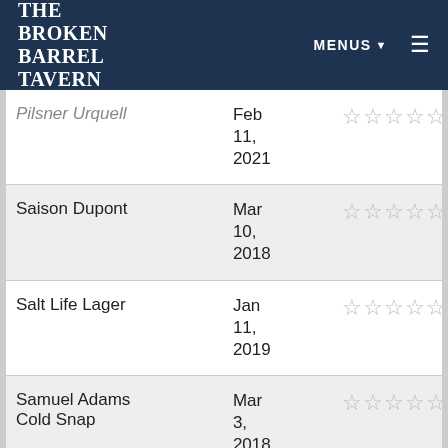THE BROKEN BARREL TAVERN | MENUS ▾ ≡
| Name | Date | Rating |
| --- | --- | --- |
| Pilsner Urquell (partial) | Feb 11, 2021 | ☆☆☆☆☆ |
| Saison Dupont | Mar 10, 2018 | ☆☆☆☆☆ |
| Salt Life Lager | Jan 11, 2019 | ☆☆☆☆☆ |
| Samuel Adams Cold Snap | Mar 3, 2018 | ☆☆☆☆☆ |
| Samuel Adams (partial) | Sep ... | ☆☆☆☆☆ |